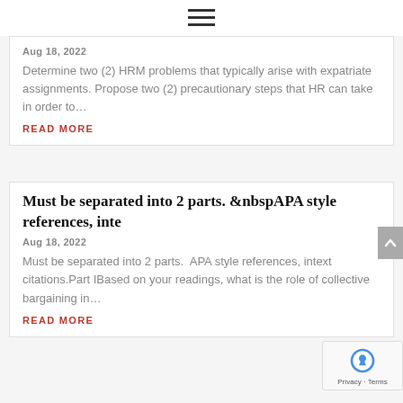≡ (hamburger menu icon)
Aug 18, 2022
Determine two (2) HRM problems that typically arise with expatriate assignments. Propose two (2) precautionary steps that HR can take in order to…
READ MORE
Must be separated into 2 parts. &nbspAPA style references, inte
Aug 18, 2022
Must be separated into 2 parts.  APA style references, intext citations.Part IBased on your readings, what is the role of collective bargaining in…
READ MORE